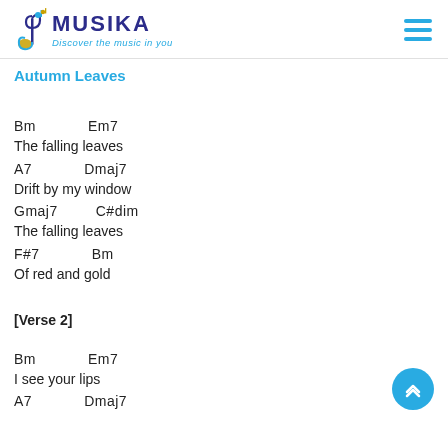[Figure (logo): Musika logo with musical note icon, text MUSIKA in dark blue, tagline Discover the music in you in light blue]
Autumn Leaves
Bm        Em7
The falling leaves
A7        Dmaj7
Drift by my window
Gmaj7        C#dim
The falling leaves
F#7        Bm
Of red and gold
[Verse 2]
Bm        Em7
I see your lips
A7        Dmaj7